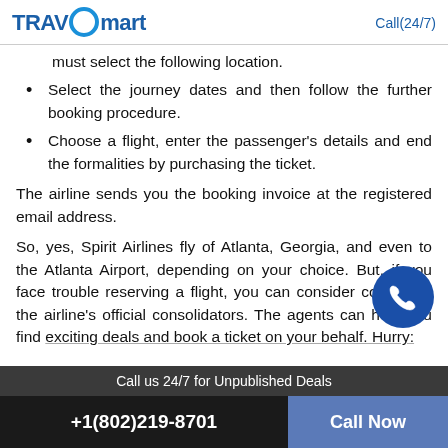TRAVOmart | Call(24/7)
must select the following location.
Select the journey dates and then follow the further booking procedure.
Choose a flight, enter the passenger's details and end the formalities by purchasing the ticket.
The airline sends you the booking invoice at the registered email address.
So, yes, Spirit Airlines fly of Atlanta, Georgia, and even to the Atlanta Airport, depending on your choice. But, if you face trouble reserving a flight, you can consider co... the airline's official consolidators. The agents can help you find exciting deals and book a ticket on your behalf. Hurry:
Call us 24/7 for Unpublished Deals
+1(802)219-8701 | Call Now